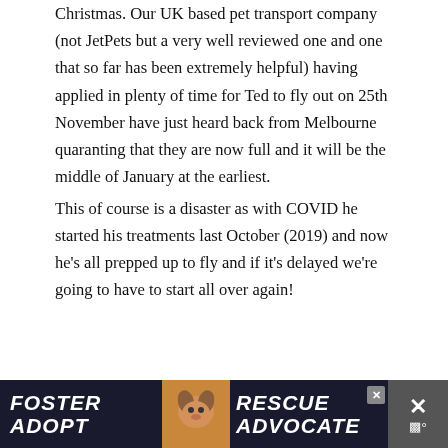Christmas. Our UK based pet transport company (not JetPets but a very well reviewed one and one that so far has been extremely helpful) having applied in plenty of time for Ted to fly out on 25th November have just heard back from Melbourne quaranting that they are now full and it will be the middle of January at the earliest.
This of course is a disaster as with COVID he started his treatments last October (2019) and now he’s all prepped up to fly and if it’s delayed we’re going to have to start all over again!
[Figure (infographic): Advertisement banner at the bottom with dark navy background showing text FOSTER ADOPT on the left, a beagle dog photo in the center, and RESCUE ADVOCATE text on the right, with a close button on the far right.]